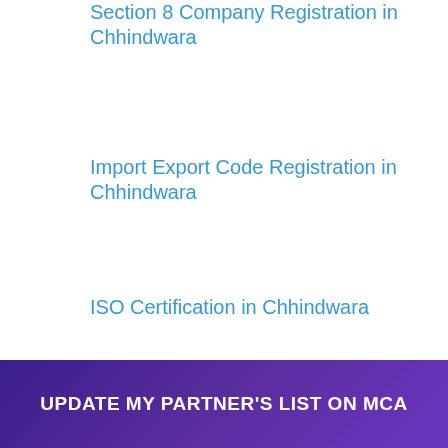Section 8 Company Registration in Chhindwara
Import Export Code Registration in Chhindwara
ISO Certification in Chhindwara
Trademark Application Registration in Chhindwara
od License Registration in Chhindwara
Goods and Service Tax (GST) Registration in
[Figure (other): WhatsApp chat widget: green circle with WhatsApp icon and speech bubble saying 'Questions? Let's Chat']
UPDATE MY PARTNER'S LIST ON MCA